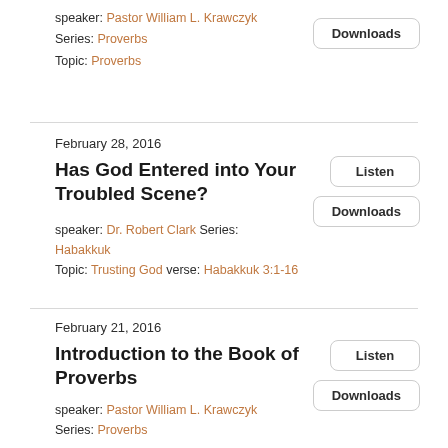speaker: Pastor William L. Krawczyk
Series: Proverbs
Topic: Proverbs
Downloads
February 28, 2016
Has God Entered into Your Troubled Scene?
speaker: Dr. Robert Clark Series: Habakkuk
Topic: Trusting God verse: Habakkuk 3:1-16
Listen
Downloads
February 21, 2016
Introduction to the Book of Proverbs
speaker: Pastor William L. Krawczyk
Series: Proverbs
Listen
Downloads